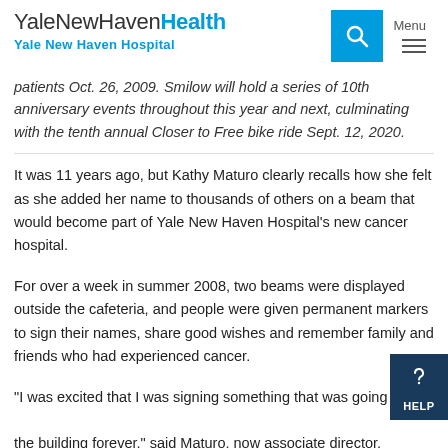YaleNewHavenHealth Yale New Haven Hospital
patients Oct. 26, 2009. Smilow will hold a series of 10th anniversary events throughout this year and next, culminating with the tenth annual Closer to Free bike ride Sept. 12, 2020.
It was 11 years ago, but Kathy Maturo clearly recalls how she felt as she added her name to thousands of others on a beam that would become part of Yale New Haven Hospital's new cancer hospital.
For over a week in summer 2008, two beams were displayed outside the cafeteria, and people were given permanent markers to sign their names, share good wishes and remember family and friends who had experienced cancer.
“I was excited that I was signing something that was going to be in the building forever,” said Maturo, now associate director, Geriatric